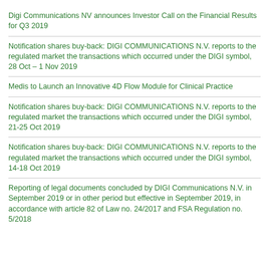Digi Communications NV announces Investor Call on the Financial Results for Q3 2019
Notification shares buy-back: DIGI COMMUNICATIONS N.V. reports to the regulated market the transactions which occurred under the DIGI symbol, 28 Oct – 1 Nov 2019
Medis to Launch an Innovative 4D Flow Module for Clinical Practice
Notification shares buy-back: DIGI COMMUNICATIONS N.V. reports to the regulated market the transactions which occurred under the DIGI symbol, 21-25 Oct 2019
Notification shares buy-back: DIGI COMMUNICATIONS N.V. reports to the regulated market the transactions which occurred under the DIGI symbol, 14-18 Oct 2019
Reporting of legal documents concluded by DIGI Communications N.V. in September 2019 or in other period but effective in September 2019, in accordance with article 82 of Law no. 24/2017 and FSA Regulation no. 5/2018